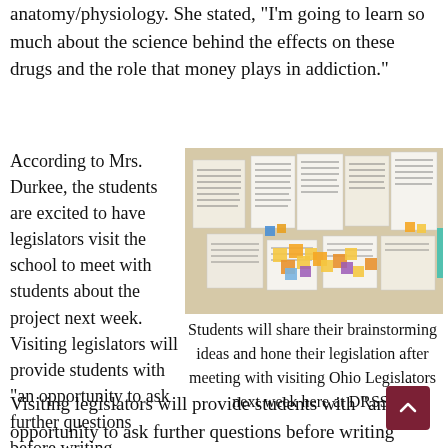anatomy/physiology. She stated, "I'm going to learn so much about the science behind the effects on these drugs and the role that money plays in addiction."
According to Mrs. Durkee, the students are excited to have legislators visit the school to meet with students about the project next week. Visiting legislators will provide students with “an opportunity to ask further questions before writing
[Figure (photo): A bulletin board or wall covered with papers (written notes/essays) and colorful sticky notes (yellow, orange, blue, purple).]
Students will share their brainstorming ideas and hone their legislation after meeting with visiting Ohio Legislators next week here at DRSS.